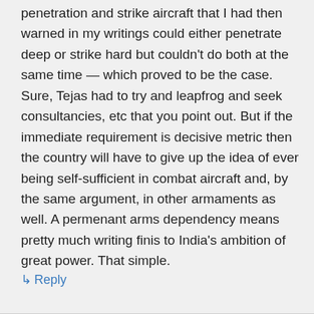penetration and strike aircraft that I had then warned in my writings could either penetrate deep or strike hard but couldn't do both at the same time — which proved to be the case. Sure, Tejas had to try and leapfrog and seek consultancies, etc that you point out. But if the immediate requirement is decisive metric then the country will have to give up the idea of ever being self-sufficient in combat aircraft and, by the same argument, in other armaments as well. A permenant arms dependency means pretty much writing finis to India's ambition of great power. That simple.
↳ Reply